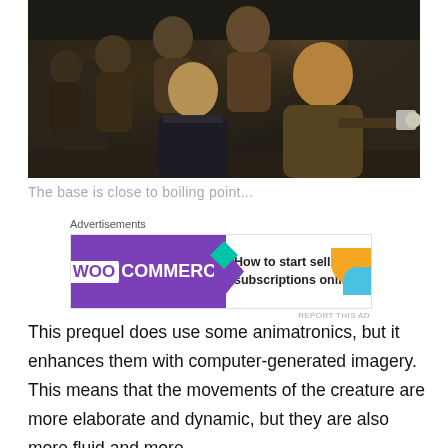[Figure (photo): A group of people huddled in a corridor or confined space, with one person holding a firearm with a suppressor. Scene appears to be from a film or TV show.]
The base is close to boiling point...
[Figure (infographic): WooCommerce advertisement banner: 'How to start selling subscriptions online']
This prequel does use some animatronics, but it enhances them with computer-generated imagery. This means that the movements of the creature are more elaborate and dynamic, but they are also more fluid and more